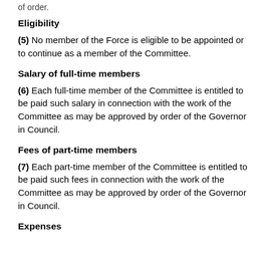of order.
Eligibility
(5) No member of the Force is eligible to be appointed or to continue as a member of the Committee.
Salary of full-time members
(6) Each full-time member of the Committee is entitled to be paid such salary in connection with the work of the Committee as may be approved by order of the Governor in Council.
Fees of part-time members
(7) Each part-time member of the Committee is entitled to be paid such fees in connection with the work of the Committee as may be approved by order of the Governor in Council.
Expenses